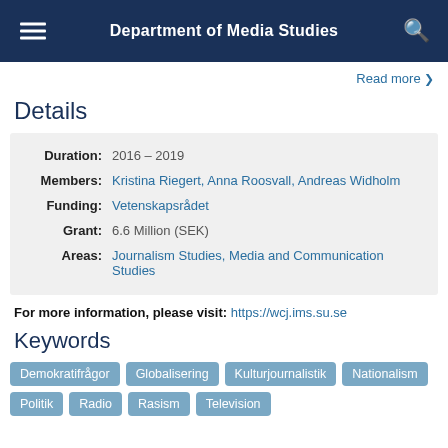Department of Media Studies
Read more
Details
| Field | Value |
| --- | --- |
| Duration: | 2016 – 2019 |
| Members: | Kristina Riegert, Anna Roosvall, Andreas Widholm |
| Funding: | Vetenskapsrådet |
| Grant: | 6.6 Million (SEK) |
| Areas: | Journalism Studies, Media and Communication Studies |
For more information, please visit: https://wcj.ims.su.se
Keywords
Demokratifrågor
Globalisering
Kulturjournalistik
Nationalism
Politik
Radio
Rasism
Television